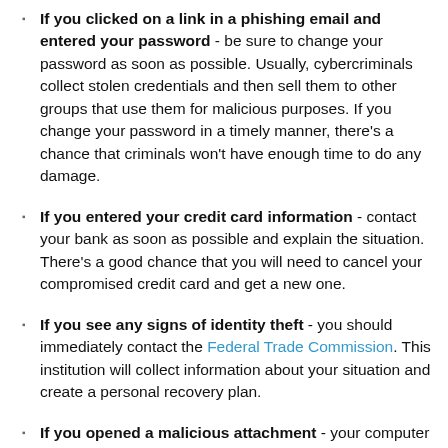If you clicked on a link in a phishing email and entered your password - be sure to change your password as soon as possible. Usually, cybercriminals collect stolen credentials and then sell them to other groups that use them for malicious purposes. If you change your password in a timely manner, there's a chance that criminals won't have enough time to do any damage.
If you entered your credit card information - contact your bank as soon as possible and explain the situation. There's a good chance that you will need to cancel your compromised credit card and get a new one.
If you see any signs of identity theft - you should immediately contact the Federal Trade Commission. This institution will collect information about your situation and create a personal recovery plan.
If you opened a malicious attachment - your computer is probably infected, you should scan it with a reputable